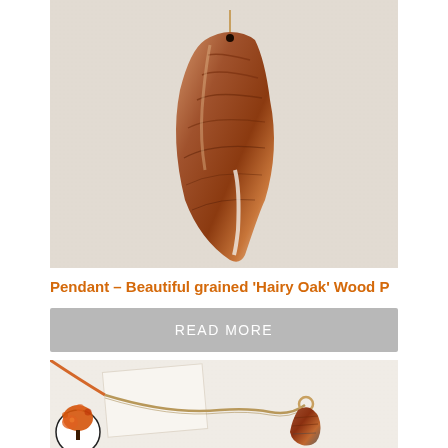[Figure (photo): Close-up photo of a wooden pendant with beautiful grain patterns, showing warm reddish-brown 'Hairy Oak' wood with striped grain, on a white textured background with a cord/chain.]
Pendant – Beautiful grained 'Hairy Oak' Wood P
READ MORE
[Figure (photo): Photo of a wooden pendant product with twine/jute cord on a white textured background. A circular brand logo with an orange tree is visible in the lower left, suggesting a handmade/artisan brand.]